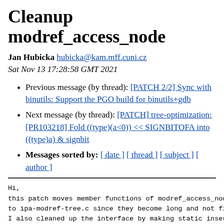Cleanup modref_access_node
Jan Hubicka hubicka@kam.mff.cuni.cz
Sat Nov 13 17:28:58 GMT 2021
Previous message (by thread): [PATCH 2/2] Sync with binutils: Support the PGO build for binutils+gdb
Next message (by thread): [PATCH] tree-optimization: [PR103218] Fold ((type)(a<0)) << SIGNBITOFA into ((type)a) & signbit
Messages sorted by: [ date ] [ thread ] [ subject ] [ author ]
Hi,
this patch moves member functions of modref_access_node t
to ipa-modref-tree.c since they become long and not fitti
I also cleaned up the interface by making static insert m
inserting accesses into a vector and optimizing them) whi
possible to hide most of the interface handling interval

Honza

gcc/ChangeLog:

        * ipa-modref-tree.h
        (struct modref_access_node): Move longer member f